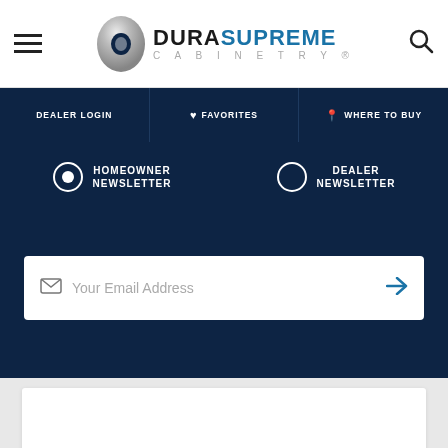[Figure (logo): Dura Supreme Cabinetry logo with circular metallic D icon and text]
DEALER LOGIN
♥ FAVORITES
📍 WHERE TO BUY
HOMEOWNER NEWSLETTER
DEALER NEWSLETTER
Your Email Address